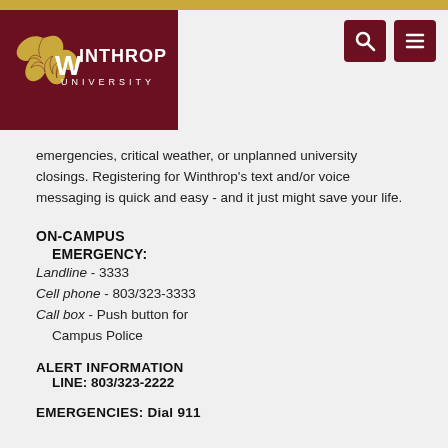[Figure (logo): Winthrop University logo with white eagle and text on dark red background, with navigation icons (search and menu) in dark red on right side]
...instructions in the event of emergencies, critical weather, or unplanned university closings. Registering for Winthrop's text and/or voice messaging is quick and easy - and it just might save your life.
ON-CAMPUS EMERGENCY:
Landline - 3333
Cell phone - 803/323-3333
Call box - Push button for Campus Police
ALERT INFORMATION LINE: 803/323-2222
EMERGENCIES: Dial 911